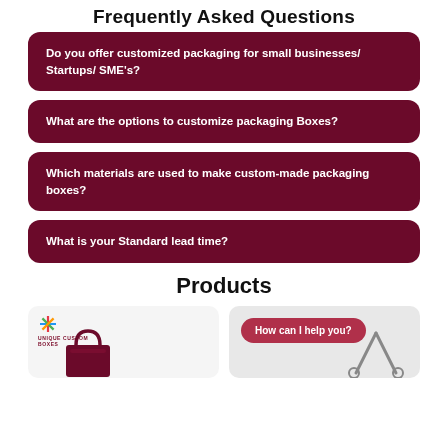Frequently Asked Questions
Do you offer customized packaging for small businesses/ Startups/ SME's?
What are the options to customize packaging Boxes?
Which materials are used to make custom-made packaging boxes?
What is your Standard lead time?
Products
[Figure (illustration): Product card showing Unique Custom Boxes logo and a dark red shopping bag illustration]
[Figure (illustration): Product card with a pink chat bubble saying 'How can I help you?' and scissors/box illustration]